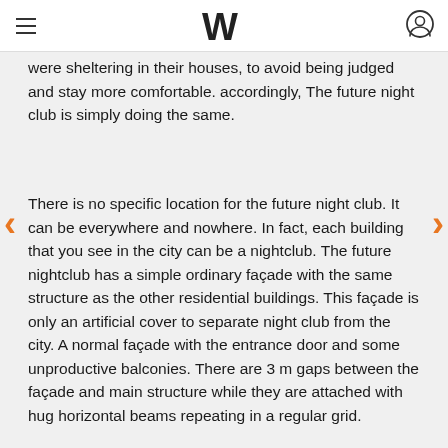W (logo), hamburger menu, user icon
were sheltering in their houses, to avoid being judged and stay more comfortable. accordingly, The future night club is simply doing the same.
There is no specific location for the future night club. It can be everywhere and nowhere. In fact, each building that you see in the city can be a nightclub. The future nightclub has a simple ordinary façade with the same structure as the other residential buildings. This façade is only an artificial cover to separate night club from the city. A normal façade with the entrance door and some unproductive balconies. There are 3 m gaps between the façade and main structure while they are attached with hug horizontal beams repeating in a regular grid.